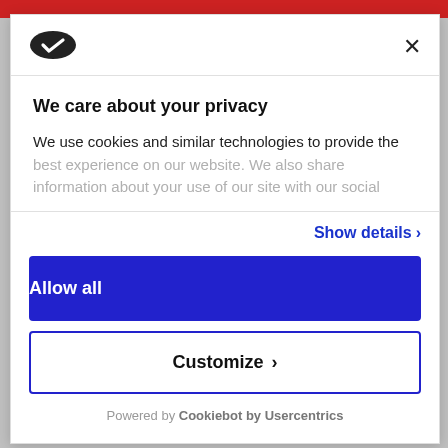[Figure (logo): Cookiebot logo - dark oval shape with white checkmark]
×
We care about your privacy
We use cookies and similar technologies to provide the best experience on our website. We also share information about your use of our site with our social
Show details >
Allow all
Customize >
Powered by Cookiebot by Usercentrics